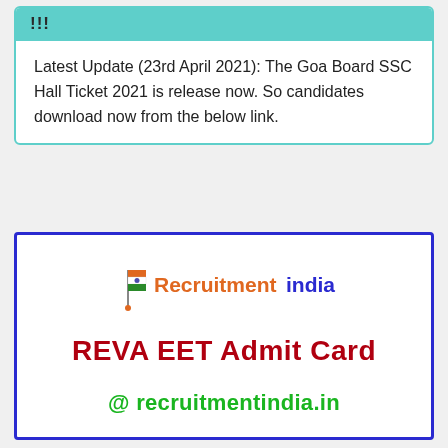!!!
Latest Update (23rd April 2021): The Goa Board SSC Hall Ticket 2021 is release now. So candidates download now from the below link.
[Figure (logo): Recruitmentindia logo with flag icon and text 'Recruitmentindia']
REVA EET Admit Card
@ recruitmentindia.in